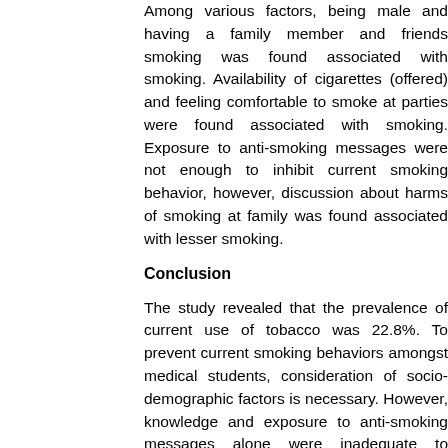Among various factors, being male and having a family member and friends smoking was found associated with smoking. Availability of cigarettes (offered) and feeling comfortable to smoke at parties were found associated with smoking. Exposure to anti-smoking messages were not enough to inhibit current smoking behavior, however, discussion about harms of smoking at family was found associated with lesser smoking.
Conclusion
The study revealed that the prevalence of current use of tobacco was 22.8%. To prevent current smoking behaviors amongst medical students, consideration of socio-demographic factors is necessary. However, knowledge and exposure to anti-smoking messages alone were inadequate to prevent such behaviors. In order to effectively prevent such behaviors, apart from regulatory policies within the academic institutions, concerted efforts involving their parents, teachers and peer could become promising.